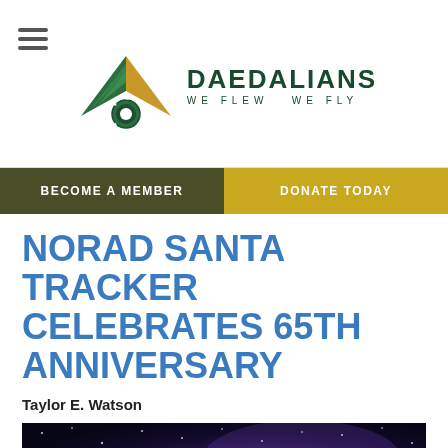Daedalians — WE FLEW   WE FLY
BECOME A MEMBER
DONATE TODAY
NORAD SANTA TRACKER CELEBRATES 65TH ANNIVERSARY
Taylor E. Watson
[Figure (photo): Night sky with stars and purple/blue nebula background]